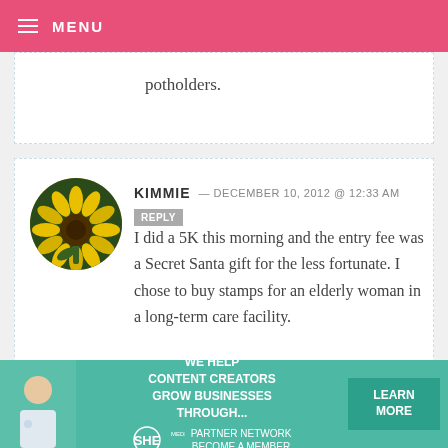MENU
potholders.
KIMMIE — DECEMBER 10, 2012 @ 12:33 AM  REPLY
I did a 5K this morning and the entry fee was a Secret Santa gift for the less fortunate. I chose to buy stamps for an elderly woman in a long-term care facility.
[Figure (photo): Circular avatar with yellow sunflower photo]
[Figure (infographic): SHE Media partner network advertisement banner: We Help Content Creators Grow Businesses Through... SHE Partner Network Become a Member. Learn More button.]